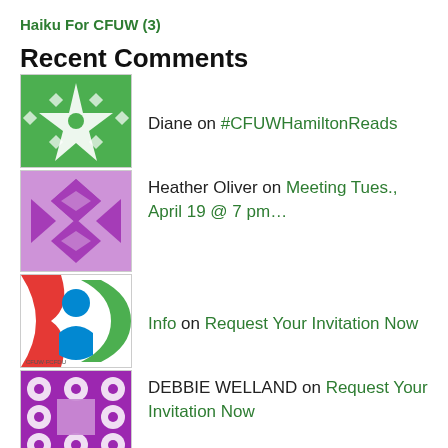Haiku For CFUW (3)
Recent Comments
Diane on #CFUWHamiltonReads
Heather Oliver on Meeting Tues., April 19 @ 7 pm…
Info on Request Your Invitation Now
DEBBIE WELLAND on Request Your Invitation Now
Info on Don't Forget Nov 3@ 7 pm…
Archives
August 2022